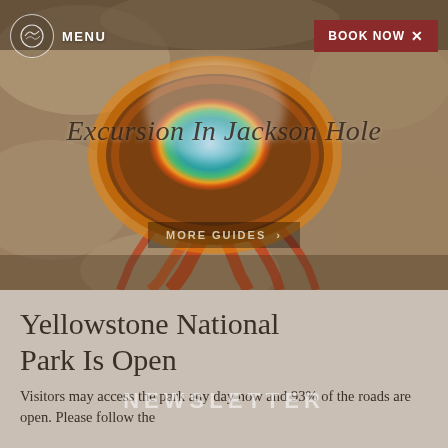[Figure (photo): Aerial view of Grand Prismatic Spring in Yellowstone National Park, showing vivid blue-green center surrounded by orange, yellow, and brown mineral rings, with steam rising, set in rocky terrain]
MENU | BOOK NOW
Excursion In Jackson Hole
MORE GUIDES >
Yellowstone National Park Is Open
NEWSLETTER
Visitors may access the park any day now and 93% of the roads are open. Please follow the